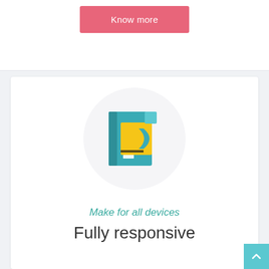Know more
[Figure (illustration): A flat design illustration of a document management or filing system icon — teal/blue rectangular shapes with a yellow folder-like element, inside a light gray circle]
Make for all devices
Fully responsive